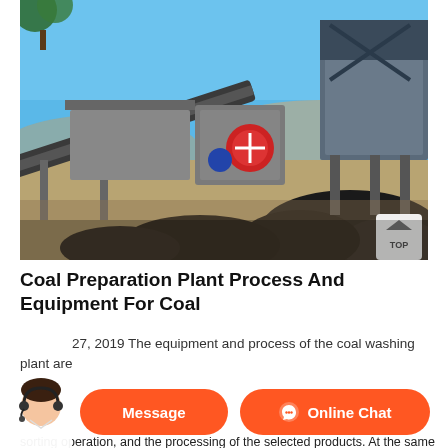[Figure (photo): Outdoor photograph of a coal preparation plant showing industrial conveyor belts, crusher equipment, and large piles of coal under a clear blue sky with sparse trees in the background.]
Coal Preparation Plant Process And Equipment For Coal
May 27, 2019 The equipment and process of the coal washing plant are
sorting operation, and the processing of the selected products. At the same